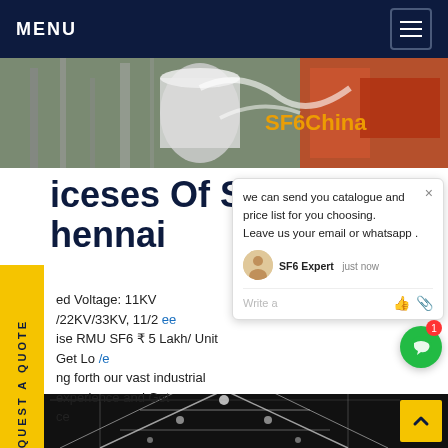MENU
[Figure (photo): Industrial equipment with large tanks and orange machinery; 'SF6China' text overlay in gold.]
Prices Of SF6 RMU Chennai
Rated Voltage: 11KV /22KV/33KV, 11/2... Ring Main Unit RMU SF6 ₹ 5 Lakh/ Unit Get Lo.../e ...ng forth our vast industrial experience and Get ...ce
[Figure (screenshot): Chat popup: 'we can send you catalogue and price list for you choosing. Leave us your email or whatsapp . SF6 Expert just now Write a [like][attach]']
[Figure (photo): Night-time industrial electrical tower/infrastructure with white glowing lines against dark background.]